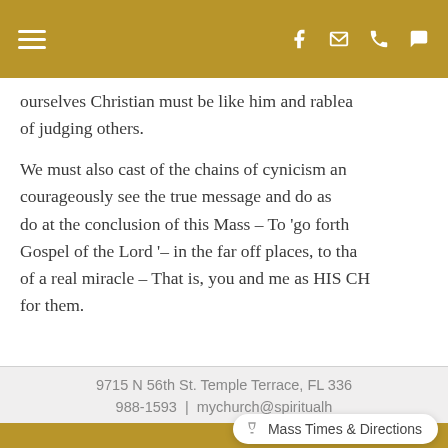[Navigation bar with hamburger menu and icons: Facebook, email, phone, chat]
ourselves Christian must be like him and rablea of judging others.
We must also cast of the chains of cynicism and courageously see the true message and do as we do at the conclusion of this Mass – To 'go forth Gospel of the Lord '– in the far off places, to tha of a real miracle – That is, you and me as HIS CH for them.
9715 N 56th St. Temple Terrace, FL 336
988-1593  |  mychurch@spiritualh
Mass Times & Directions